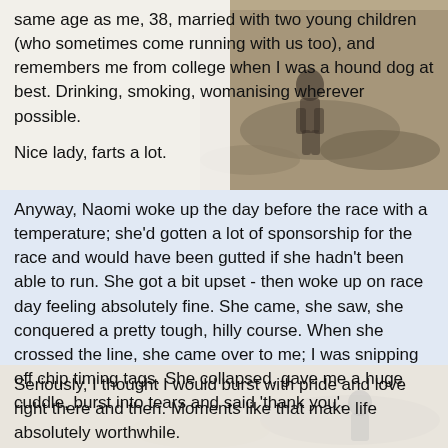same age as me, 38, married with two young children (who sometimes come running with us too), and remembers me from college when I was a hound dog at best. Drinking, smoking, womanising wherever possible.
Nice lady, farts a lot.
Anyway, Naomi woke up the day before the race with a temperature; she'd gotten a lot of sponsorship for the race and would have been gutted if she hadn't been able to run. She got a bit upset - then woke up on race day feeling absolutely fine. She came, she saw, she conquered a pretty tough, hilly course. When she crossed the line, she came over to me; I was snipping off chip timing tags. She collapsed, gave me a huge cuddle, burst into tears and said 'thank you'.
Seriously, I thought I would burst with pride and love right there and then. Moments like that make life absolutely worthwhile.
So, that's where I've been. You?